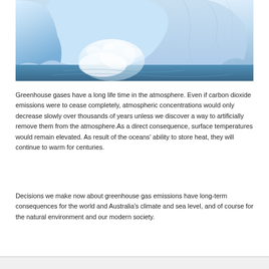[Figure (photo): Photo of a glacier calving into the ocean — large blue-white ice mass with crashing waves and spray at the base.]
Greenhouse gases have a long life time in the atmosphere. Even if carbon dioxide emissions were to cease completely, atmospheric concentrations would only decrease slowly over thousands of years unless we discover a way to artificially remove them from the atmosphere.As a direct consequence, surface temperatures would remain elevated. As result of the oceans' ability to store heat, they will continue to warm for centuries.
Decisions we make now about greenhouse gas emissions have long-term consequences for the world and Australia's climate and sea level, and of course for the natural environment and our modern society.